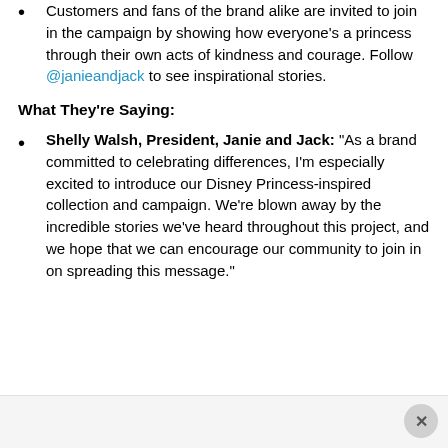Customers and fans of the brand alike are invited to join in the campaign by showing how everyone's a princess through their own acts of kindness and courage. Follow @janieandjack to see inspirational stories.
What They're Saying:
Shelly Walsh, President, Janie and Jack: "As a brand committed to celebrating differences, I'm especially excited to introduce our Disney Princess-inspired collection and campaign. We're blown away by the incredible stories we've heard throughout this project, and we hope that we can encourage our community to join in on spreading this message."